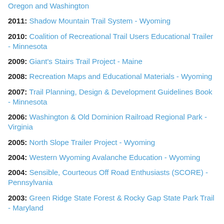Oregon and Washington
2011: Shadow Mountain Trail System - Wyoming
2010: Coalition of Recreational Trail Users Educational Trailer - Minnesota
2009: Giant's Stairs Trail Project - Maine
2008: Recreation Maps and Educational Materials - Wyoming
2007: Trail Planning, Design & Development Guidelines Book - Minnesota
2006: Washington & Old Dominion Railroad Regional Park - Virginia
2005: North Slope Trailer Project - Wyoming
2004: Western Wyoming Avalanche Education - Wyoming
2004: Sensible, Courteous Off Road Enthusiasts (SCORE) - Pennsylvania
2003: Green Ridge State Forest & Rocky Gap State Park Trail - Maryland